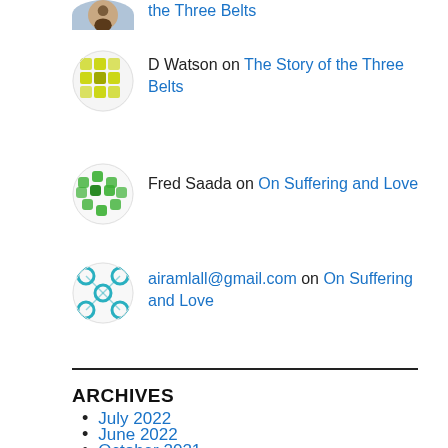[avatar] [person photo] on the Three Belts
D Watson on The Story of the Three Belts
Fred Saada on On Suffering and Love
airamlall@gmail.com on On Suffering and Love
ARCHIVES
July 2022
June 2022
October 2021